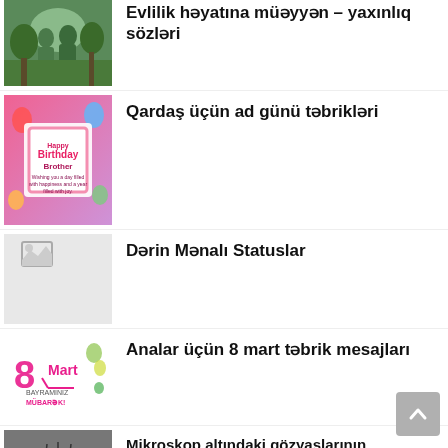Evlilik həyatına müəyyən – yaxınlıq sözləri
[Figure (photo): Couple in nature, romantic photo]
Qardaş üçün ad günü təbrikləri
[Figure (photo): Happy Birthday Brother card, pink with balloons]
Dərin Mənalı Statuslar
[Figure (photo): Broken image placeholder, light grey]
Analar üçün 8 mart təbrik mesajları
[Figure (photo): 8 Mart Bayramınız Mübarək illustration]
Mikroskop altındaki gözyaşlarının görüntüləri – sevinc, üzüntü, umut, ihanet gözyaşları farklıdır – FOTOGRAF
[Figure (photo): Close-up black and white photo of an eye with tear]
Ingilis dilində ad günü təbrikləri
[Figure (photo): Person holding gift, light blue background]